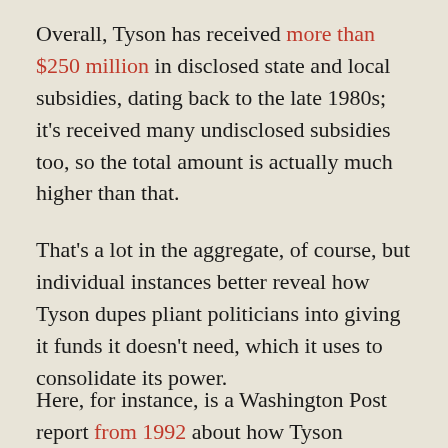Overall, Tyson has received more than $250 million in disclosed state and local subsidies, dating back to the late 1980s; it's received many undisclosed subsidies too, so the total amount is actually much higher than that.
That's a lot in the aggregate, of course, but individual instances better reveal how Tyson dupes pliant politicians into giving it funds it doesn't need, which it uses to consolidate its power.
Here, for instance, is a Washington Post report from 1992 about how Tyson received $7.8 million